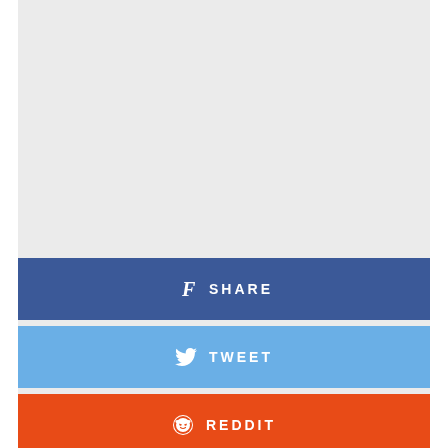[Figure (infographic): Social sharing buttons: Facebook Share (dark blue), Twitter Tweet (light blue), Reddit (orange), Email (teal/gray)]